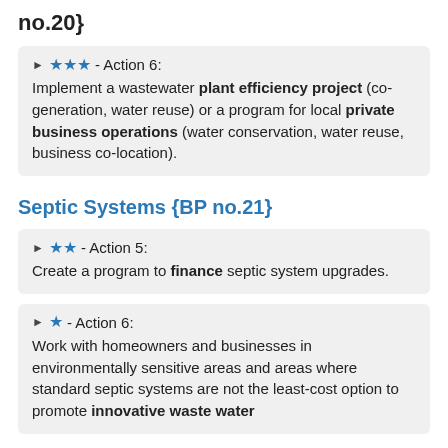no.20}
★★★ - Action 6: Implement a wastewater plant efficiency project (co-generation, water reuse) or a program for local private business operations (water conservation, water reuse, business co-location).
Septic Systems {BP no.21}
★★ - Action 5: Create a program to finance septic system upgrades.
★ - Action 6: Work with homeowners and businesses in environmentally sensitive areas and areas where standard septic systems are not the least-cost option to promote innovative waste water